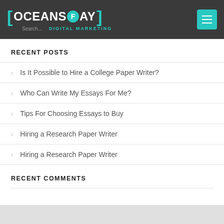OceansFay Digital Marketing - navigation header with menu button
RECENT POSTS
Is It Possible to Hire a College Paper Writer?
Who Can Write My Essays For Me?
Tips For Choosing Essays to Buy
Hiring a Research Paper Writer
Hiring a Research Paper Writer
RECENT COMMENTS